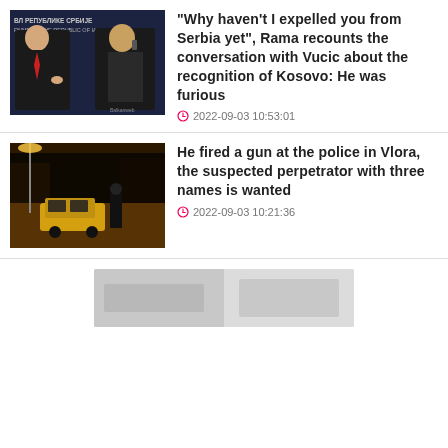[Figure (photo): Two men at podiums with Cyrillic text backdrop reading government republic of Serbia]
"Why haven't I expelled you from Serbia yet", Rama recounts the conversation with Vucic about the recognition of Kosovo: He was furious
2022-09-03 10:53:01
[Figure (photo): Night scene with police car and officers on a street in Vlora]
He fired a gun at the police in Vlora, the suspected perpetrator with three names is wanted
2022-09-03 10:21:36
[Figure (photo): Partially visible image at bottom of page, blurred/cut off]